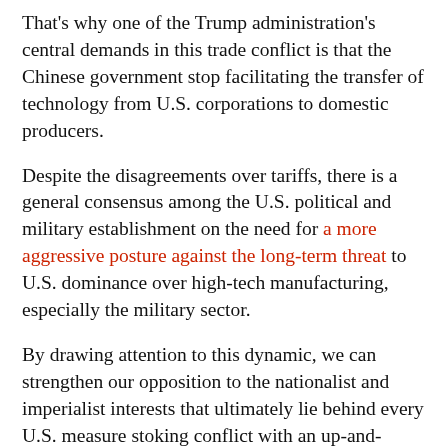That's why one of the Trump administration's central demands in this trade conflict is that the Chinese government stop facilitating the transfer of technology from U.S. corporations to domestic producers.
Despite the disagreements over tariffs, there is a general consensus among the U.S. political and military establishment on the need for a more aggressive posture against the long-term threat to U.S. dominance over high-tech manufacturing, especially the military sector.
By drawing attention to this dynamic, we can strengthen our opposition to the nationalist and imperialist interests that ultimately lie behind every U.S. measure stoking conflict with an up-and-coming rival.
Our world is already far too violent and divided. An inflamed imperial rivalry between its greatest